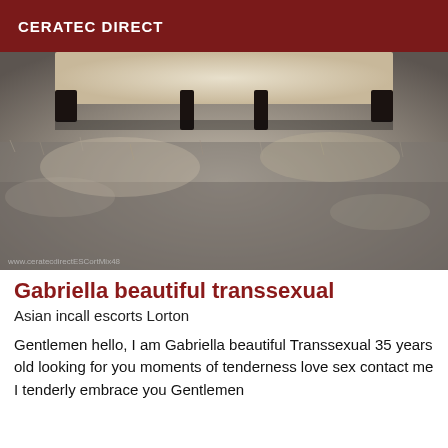CERATEC DIRECT
[Figure (photo): Close-up photo of a textured shag carpet (grey/taupe tones) with the legs of a white-upholstered furniture piece (likely a bed or sofa) visible at the top, taken from floor level. A small watermark text is visible at the bottom left of the image.]
Gabriella beautiful transsexual
Asian incall escorts Lorton
Gentlemen hello, I am Gabriella beautiful Transsexual 35 years old looking for you moments of tenderness love sex contact me I tenderly embrace you Gentlemen